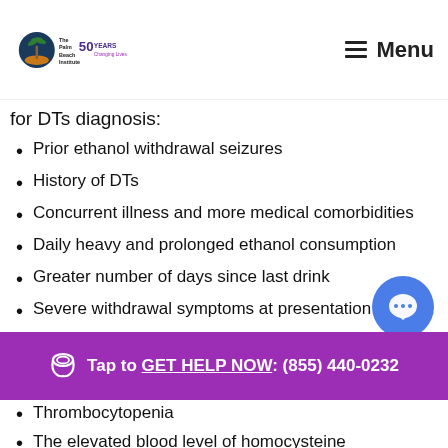The Palm Beach Institute — 50 Years Changing Lives | Menu
for DTs diagnosis:
Prior ethanol withdrawal seizures
History of DTs
Concurrent illness and more medical comorbidities
Daily heavy and prolonged ethanol consumption
Greater number of days since last drink
Severe withdrawal symptoms at presentation
Prior detoxification
Intense craving for alcohol
Older age
Thrombocytopenia
The elevated blood level of homocysteine